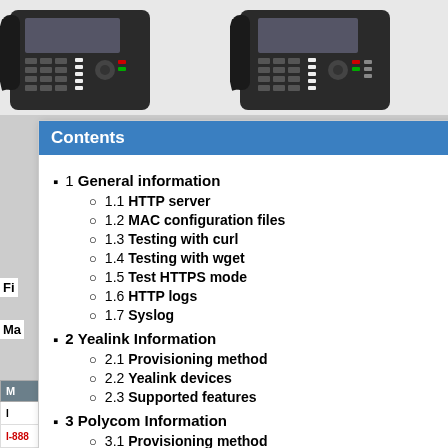[Figure (photo): Two black desk phones (VoIP/office phones) shown side by side at the top of the page]
Contents
1 General information
1.1 HTTP server
1.2 MAC configuration files
1.3 Testing with curl
1.4 Testing with wget
1.5 Test HTTPS mode
1.6 HTTP logs
1.7 Syslog
2 Yealink Information
2.1 Provisioning method
2.2 Yealink devices
2.3 Supported features
3 Polycom Information
3.1 Provisioning method
3.2 Polycom devices
3.3 Supported features
| M | Directory/BLF | T |
| --- | --- | --- |
| I | ✓ |  |
| I-888 | Fit3.5.11 |  | ✓ |